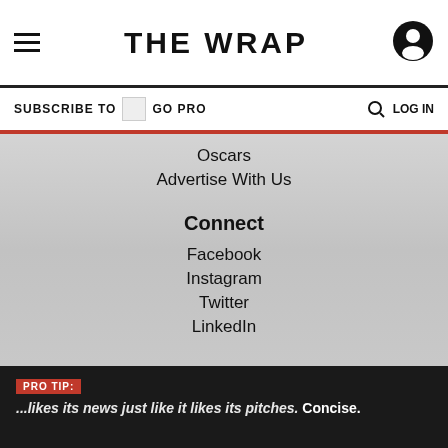THE WRAP
SUBSCRIBE TO GO PRO
LOG IN
Oscars
Advertise With Us
Connect
Facebook
Instagram
Twitter
LinkedIn
[Figure (illustration): Social media icons: Facebook, Instagram, YouTube, Twitter in red circle style]
PRO TIP: ...likes its news just like it likes its pitches. Concise.